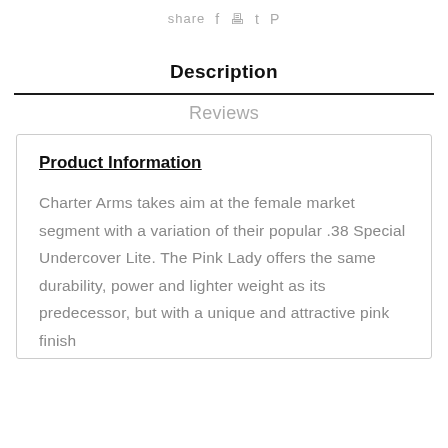share  f  [print]  [twitter]  [pinterest]
Description
Reviews
Product Information
Charter Arms takes aim at the female market segment with a variation of their popular .38 Special Undercover Lite. The Pink Lady offers the same durability, power and lighter weight as its predecessor, but with a unique and attractive pink finish